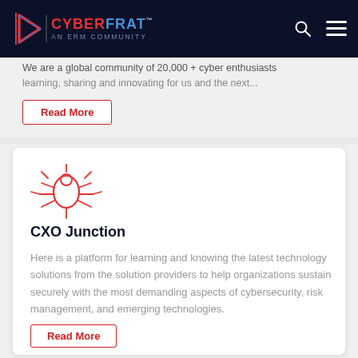We are a global community of 20,000 + cyber enthusiasts learning, sharing and innovating for us and the next...
[Figure (logo): CyberFrat logo - triangular arrow icon in red and blue with text CYBERFRAT AN ERM COMMUNITY on dark navy navigation bar]
Read More
[Figure (illustration): Red outline icon of a bug/spider with radiating lines, representing cybersecurity threat]
CXO Junction
Here is a platform for learning and knowing the latest technology solutions from the solution providers to help organizations sustain securely with the most demanding aspects of cybersecurity, risk management, and emerging technologies.
Read More